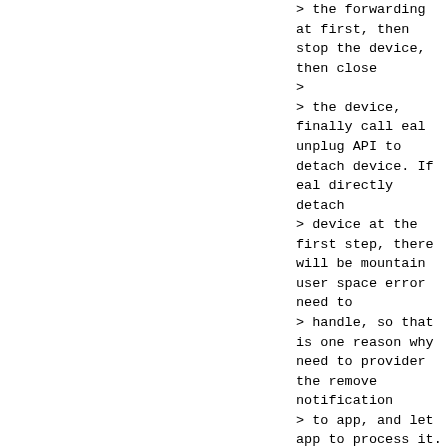> the forwarding at first, then stop the device, then close
>
> the device, finally call eal unplug API to detach device. If eal directly detach
> device at the first step, there will be mountain user space error need to
> handle, so that is one reason why need to provider the remove notification
> to app, and let app to process it.
This is why the EAL need to detach the device only after all the user callbacks were done.